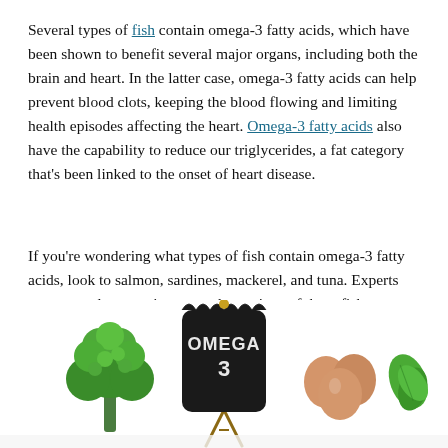Several types of fish contain omega-3 fatty acids, which have been shown to benefit several major organs, including both the brain and heart. In the latter case, omega-3 fatty acids can help prevent blood clots, keeping the blood flowing and limiting health episodes affecting the heart. Omega-3 fatty acids also have the capability to reduce our triglycerides, a fat category that's been linked to the onset of heart disease.
If you're wondering what types of fish contain omega-3 fatty acids, look to salmon, sardines, mackerel, and tuna. Experts recommend consuming a couple servings of these fish types each week, with a serving size amounting to roughly 3.5 ounces — about the size of a deck of cards.
[Figure (photo): Photo showing omega-3 rich foods: broccoli on the left, a small chalkboard sign reading 'OMEGA 3' in the center, eggs on the right, and green leafy herbs, all arranged on a white surface.]